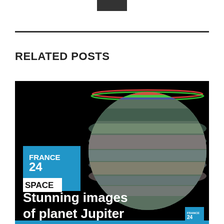[Figure (logo): Dark rectangular logo block at top center]
RELATED POSTS
[Figure (photo): France 24 news thumbnail showing Jupiter planet image with text 'SPACE' and 'Stunning images of planet Jupiter' overlaid on dark background]